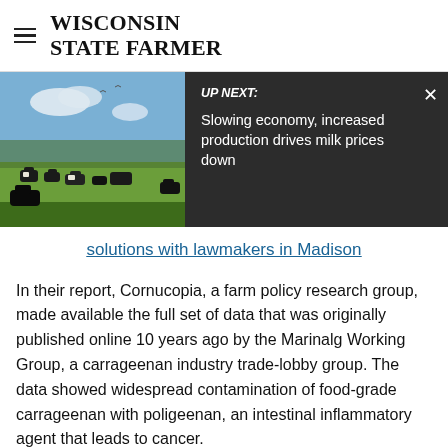WISCONSIN STATE FARMER
[Figure (screenshot): Farm image with cows on green field under blue sky, partially covered by a dark overlay panel showing 'UP NEXT: Slowing economy, increased production drives milk prices down' with a close button]
solutions with lawmakers in Madison
In their report, Cornucopia, a farm policy research group, made available the full set of data that was originally published online 10 years ago by the Marinalg Working Group, a carrageenan industry trade-lobby group. The data showed widespread contamination of food-grade carrageenan with poligeenan, an intestinal inflammatory agent that leads to cancer.
Marinalg had posted the illuminating research on